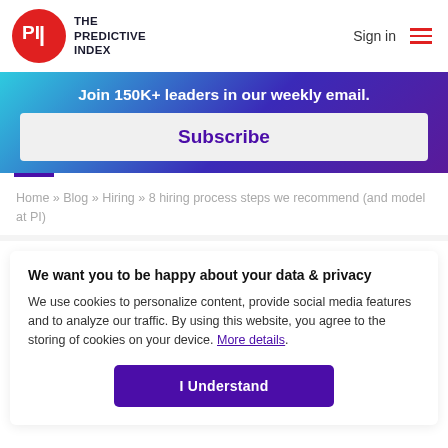THE PREDICTIVE INDEX — Sign in
Join 150K+ leaders in our weekly email.
Subscribe
Home » Blog » Hiring » 8 hiring process steps we recommend (and model at PI)
We want you to be happy about your data & privacy
We use cookies to personalize content, provide social media features and to analyze our traffic. By using this website, you agree to the storing of cookies on your device. More details.
I Understand